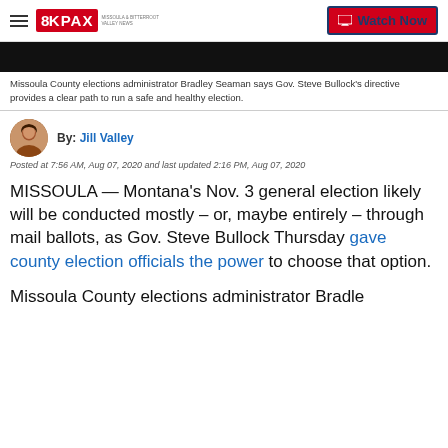8KPAX | Watch Now
[Figure (photo): Black video/image bar at top of article]
Missoula County elections administrator Bradley Seaman says Gov. Steve Bullock's directive provides a clear path to run a safe and healthy election.
By: Jill Valley
Posted at 7:56 AM, Aug 07, 2020 and last updated 2:16 PM, Aug 07, 2020
MISSOULA — Montana's Nov. 3 general election likely will be conducted mostly – or, maybe entirely – through mail ballots, as Gov. Steve Bullock Thursday gave county election officials the power to choose that option.
Missoula County elections administrator Bradley